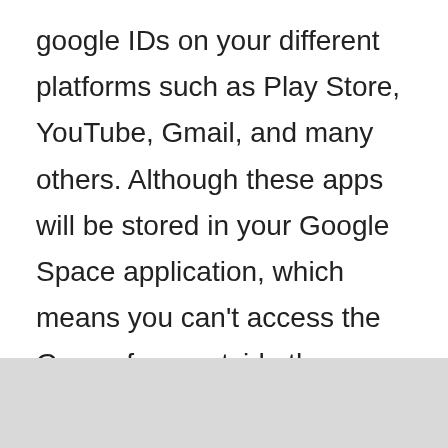google IDs on your different platforms such as Play Store, YouTube, Gmail, and many others. Although these apps will be stored in your Google Space application, which means you can't access the Gapps from outside the space, and also, once you've installed a Google app on your Space, it's not possible for now to uninstall